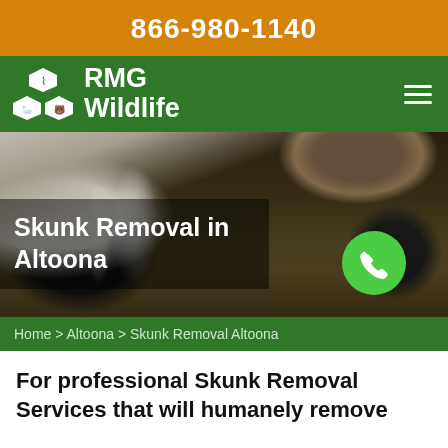866-980-1140
[Figure (logo): RMG Wildlife logo with hexagon animal icons and green nav bar with hamburger menu]
[Figure (photo): Photo of skunks huddled under a rock ledge on hay/straw ground with overlay title 'Skunk Removal in Altoona' and green phone button]
Skunk Removal in Altoona
Home > Altoona > Skunk Removal Altoona
For professional Skunk Removal Services that will humanely remove